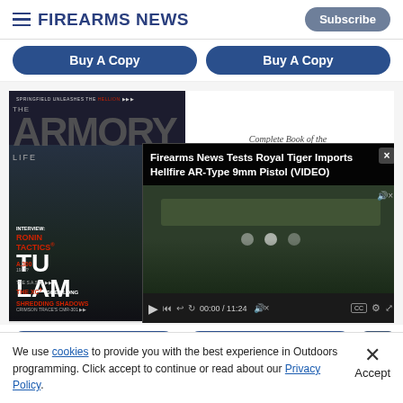Firearms News
Buy A Copy  Buy A Copy
[Figure (screenshot): Screenshot of Firearms News website showing: The Armory Life magazine cover featuring Tu Lam, a 'Complete Book of the Model 1911' advertisement, and a video overlay titled 'Firearms News Tests Royal Tiger Imports Hellfire AR-Type 9mm Pistol (VIDEO)' with video controls showing 00:00 / 11:24]
We use cookies to provide you with the best experience in Outdoors programming. Click accept to continue or read about our Privacy Policy.